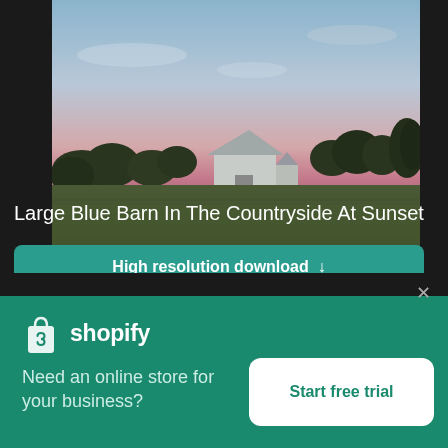[Figure (photo): Landscape photograph of a large white/blue barn in a countryside field at sunset, with green fields in the foreground and trees silhouetted against a pink and purple sky]
Large Blue Barn In The Countryside At Sunset
High resolution download ↓
[Figure (photo): Partial strip of another photo visible in the dark background bar]
[Figure (logo): Shopify logo - white shopping bag icon with S and white Shopify wordmark text]
Need an online store for your business?
Start free trial